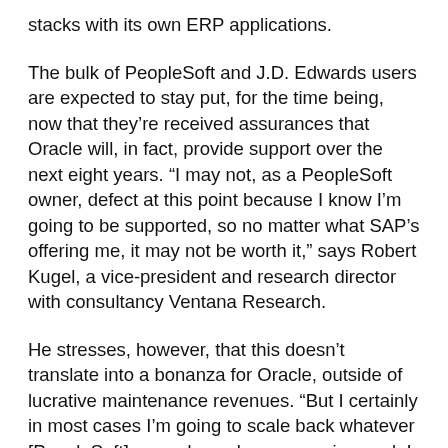stacks with its own ERP applications.
The bulk of PeopleSoft and J.D. Edwards users are expected to stay put, for the time being, now that they're received assurances that Oracle will, in fact, provide support over the next eight years. “I may not, as a PeopleSoft owner, defect at this point because I know I’m going to be supported, so no matter what SAP’s offering me, it may not be worth it,” says Robert Kugel, a vice-president and research director with consultancy Ventana Research.
He stresses, however, that this doesn’t translate into a bonanza for Oracle, outside of lucrative maintenance revenues. “But I certainly in most cases I’m going to scale back whatever [PeopleSoft] upgrade work or expansion work I might have had in mind, until I’ve got a clearer idea of what Fusion’s going to look like.”